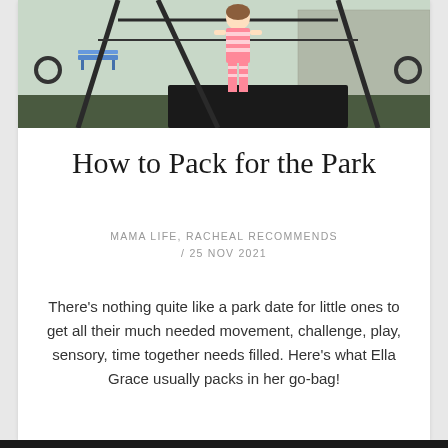[Figure (photo): A child in pink striped outfit playing on playground equipment at a park, with blue benches and stone wall visible in background]
How to Pack for the Park
MAMA LIFE, RACHEAL RECOMMENDS / 25 NOV 2021
There's nothing quite like a park date for little ones to get all their much needed movement, challenge, play, sensory, time together needs filled. Here's what Ella Grace usually packs in her go-bag!